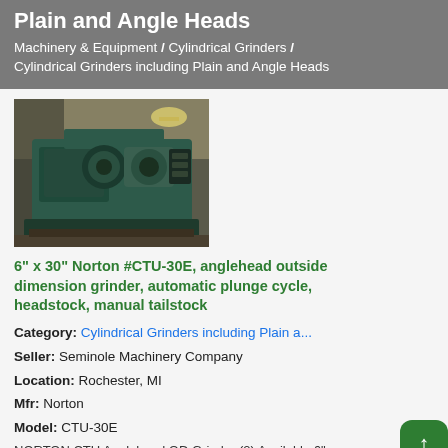Cylindrical Grinders including — 1 Result Plain and Angle Heads
Machinery & Equipment / Cylindrical Grinders / Cylindrical Grinders including Plain and Angle Heads
[Figure (photo): Industrial cylindrical grinder machine (Norton CTU-30E) on a factory floor, teal/dark colored heavy machinery]
6" x 30" Norton #CTU-30E, anglehead outside dimension grinder, automatic plunge cycle, headstock, manual tailstock
Category: Cylindrical Grinders including Plain a...
Seller: Seminole Machinery Company
Location: Rochester, MI
Mfr: Norton
Model: CTU-30E
NORTON CTU Anglehead OD Grinder (2) Available 6" x